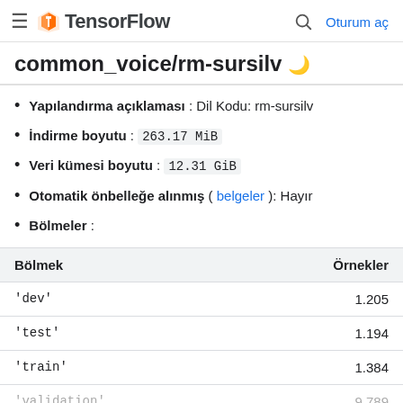≡ TensorFlow  🔍 Oturum aç
common_voice/rm-sursilv 🌙
Yapılandırma açıklaması : Dil Kodu: rm-sursilv
İndirme boyutu : 263.17 MiB
Veri kümesi boyutu : 12.31 GiB
Otomatik önbelleğe alınmış ( belgeler ): Hayır
Bölmeler :
| Bölmek | Örnekler |
| --- | --- |
| 'dev' | 1.205 |
| 'test' | 1.194 |
| 'train' | 1.384 |
| 'validation' | 9.789 |